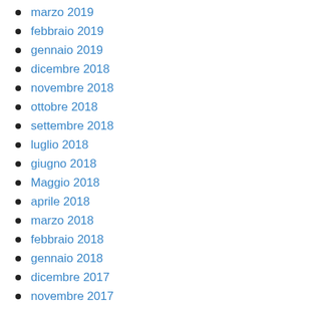marzo 2019
febbraio 2019
gennaio 2019
dicembre 2018
novembre 2018
ottobre 2018
settembre 2018
luglio 2018
giugno 2018
Maggio 2018
aprile 2018
marzo 2018
febbraio 2018
gennaio 2018
dicembre 2017
novembre 2017